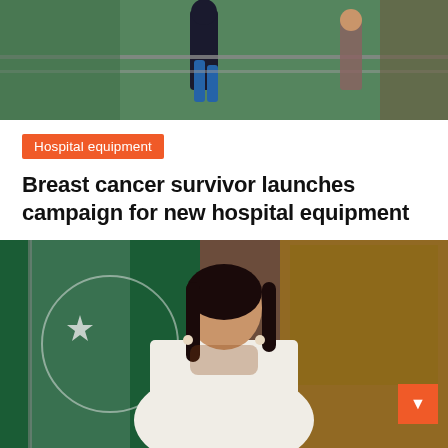[Figure (photo): Top portion of a news article page showing a partially visible photo at the top]
Hospital equipment
Breast cancer survivor launches campaign for new hospital equipment
Lillian L. Pena   February 20, 2022
[Figure (photo): A woman in a white dress sitting in front of a Pakistan flag, in what appears to be an official office setting]